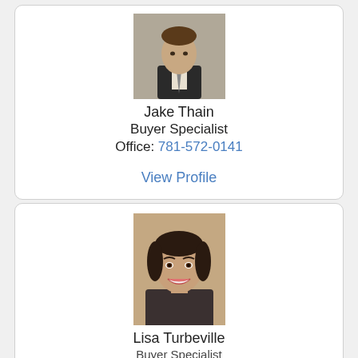[Figure (photo): Headshot photo of Jake Thain, a man in a dark suit with a tie, shown from shoulders up]
Jake Thain
Buyer Specialist
Office: 781-572-0141
View Profile
[Figure (photo): Headshot photo of Lisa Turbeville, a woman with dark hair, smiling, shown from shoulders up]
Lisa Turbeville
Buyer Specialist